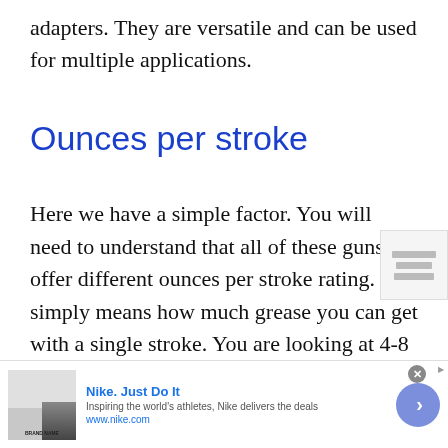adapters. They are versatile and can be used for multiple applications.
Ounces per stroke
Here we have a simple factor. You will need to understand that all of these guns offer different ounces per stroke rating. It simply means how much grease you can get with a single stroke. You are looking at 4-8 ounces per 10 strokes, which is typical and sufficient. More expensive models usually have a better
[Figure (other): Advertisement banner for Nike. Just Do It with thumbnail image, tagline 'Inspiring the world's athletes, Nike delivers the deals', URL www.nike.com, close button, and arrow button.]